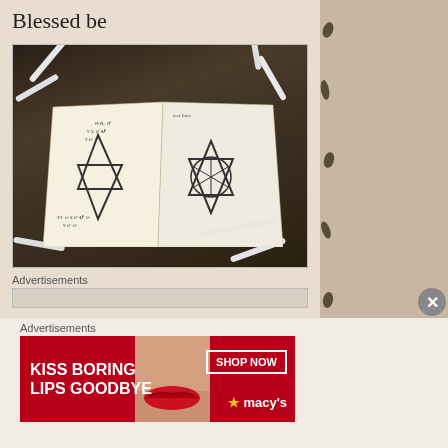Blessed be
[Figure (photo): Open notebook/journal with hand-drawn mystical symbols (pentagram on left page, Star of David with circle on right page) and handwritten text, surrounded by markers/pens scattered on a dark ground]
Advertisements
Advertisements
[Figure (photo): Macy's advertisement with text 'KISS BORING LIPS GOODBYE' and 'SHOP NOW' button and Macy's star logo, featuring a woman's face with red lips]